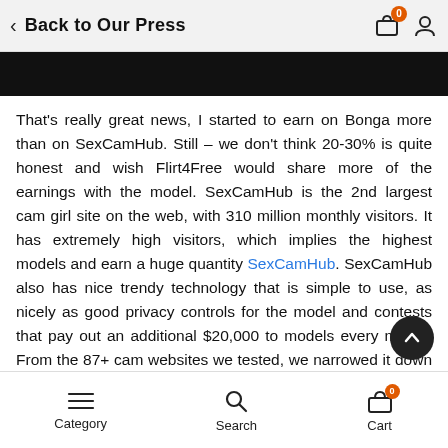Back to Our Press
[Figure (photo): Black image strip at the top of the content area]
That's really great news, I started to earn on Bonga more than on SexCamHub. Still – we don't think 20-30% is quite honest and wish Flirt4Free would share more of the earnings with the model. SexCamHub is the 2nd largest cam girl site on the web, with 310 million monthly visitors. It has extremely high visitors, which implies the highest models and earn a huge quantity SexCamHub. SexCamHub also has nice trendy technology that is simple to use, as nicely as good privacy controls for the model and contests that pay out an additional $20,000 to models every month. From the 87+ cam websites we tested, we narrowed it down to the highest 10 greatest cam sites for models to generate income
Category   Search   Cart